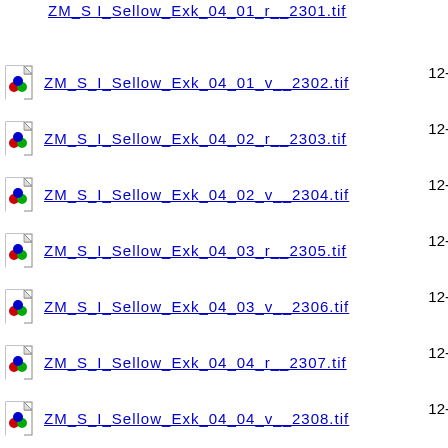ZM_S_I_Sellow_Exk_04_01_r__2301.tif
ZM_S_I_Sellow_Exk_04_01_v__2302.tif
ZM_S_I_Sellow_Exk_04_02_r__2303.tif
ZM_S_I_Sellow_Exk_04_02_v__2304.tif
ZM_S_I_Sellow_Exk_04_03_r__2305.tif
ZM_S_I_Sellow_Exk_04_03_v__2306.tif
ZM_S_I_Sellow_Exk_04_04_r__2307.tif
ZM_S_I_Sellow_Exk_04_04_v__2308.tif